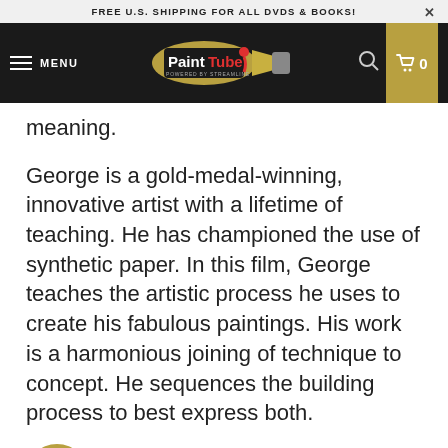FREE U.S. SHIPPING FOR ALL DVDS & BOOKS!
[Figure (logo): PaintTube logo - paint tube graphic with 'PaintTube' text, powered by Streamline]
meaning.
George is a gold-medal-winning, innovative artist with a lifetime of teaching. He has championed the use of synthetic paper. In this film, George teaches the artistic process he uses to create his fabulous paintings. His work is a harmonious joining of technique to concept. He sequences the building process to best express both.
ins with a simple sketch of a married couple having dinner over a bottle of wine. The challenge is to represent the relationship of the